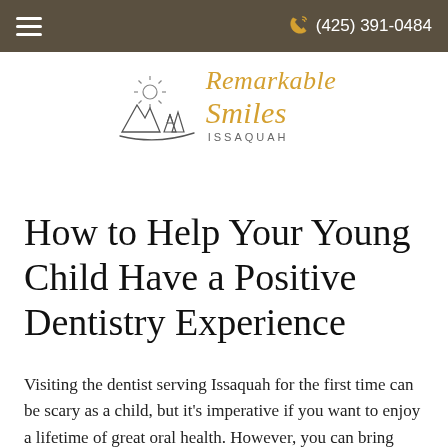≡   (425) 391-0484
[Figure (logo): Remarkable Smiles Issaquah logo with stylized sun and tree illustration in gray/black, text in orange italic script reading 'Remarkable Smiles' with 'ISSAQUAH' in small gray caps below]
How to Help Your Young Child Have a Positive Dentistry Experience
Visiting the dentist serving Issaquah for the first time can be scary as a child, but it's imperative if you want to enjoy a lifetime of great oral health. However, you can bring your child to the family dental office in confidence as long as